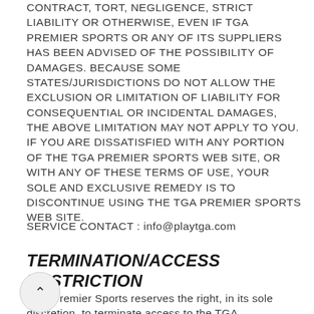CONTRACT, TORT, NEGLIGENCE, STRICT LIABILITY OR OTHERWISE, EVEN IF TGA PREMIER SPORTS OR ANY OF ITS SUPPLIERS HAS BEEN ADVISED OF THE POSSIBILITY OF DAMAGES. BECAUSE SOME STATES/JURISDICTIONS DO NOT ALLOW THE EXCLUSION OR LIMITATION OF LIABILITY FOR CONSEQUENTIAL OR INCIDENTAL DAMAGES, THE ABOVE LIMITATION MAY NOT APPLY TO YOU. IF YOU ARE DISSATISFIED WITH ANY PORTION OF THE TGA PREMIER SPORTS WEB SITE, OR WITH ANY OF THESE TERMS OF USE, YOUR SOLE AND EXCLUSIVE REMEDY IS TO DISCONTINUE USING THE TGA PREMIER SPORTS WEB SITE.
SERVICE CONTACT : info@playtga.com
TERMINATION/ACCESS RESTRICTION
TGA Premier Sports reserves the right, in its sole discretion, to terminate access to the TGA